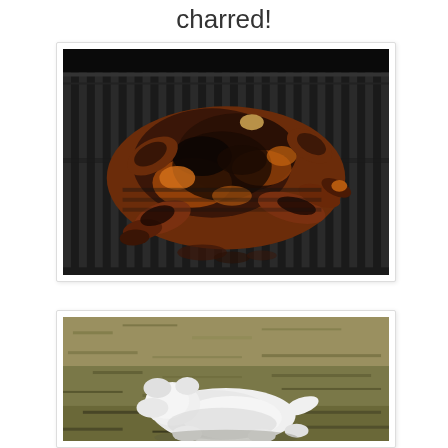charred!
[Figure (photo): A whole chicken, heavily charred and spiced, lying flat on a dark metal grill grate, with legs splayed out, showing a deeply browned and blackened exterior from grilling.]
[Figure (photo): A white dog or animal lying on dry brownish-green grass, viewed from above, with the animal positioned in the lower portion of the frame.]